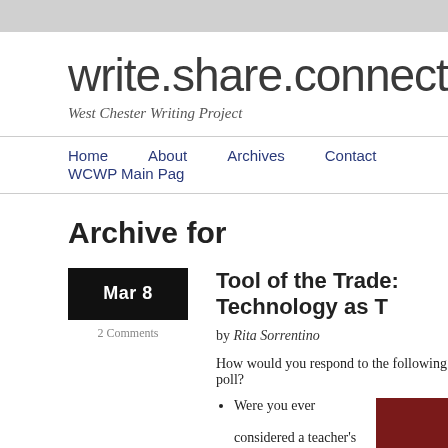write.share.connect
West Chester Writing Project
Home   About   Archives   Contact   WCWP Main Page
Archive for
Mar 8
2 Comments
Tool of the Trade: Technology as T
by Rita Sorrentino
How would you respond to the following poll?
Were you ever considered a teacher's
[Figure (photo): Partial view of an iPad book cover with dark red and dark grey background]